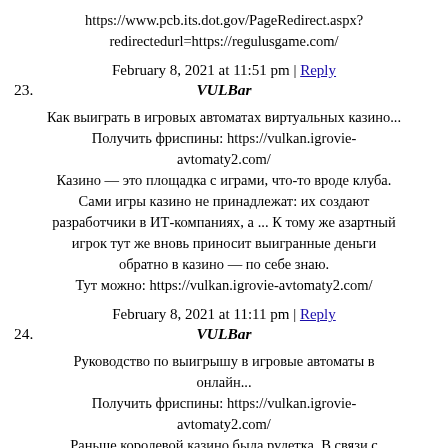https://www.pcb.its.dot.gov/PageRedirect.aspx?redirectedurl=https://regulusgame.com/
February 8, 2021 at 11:51 pm | Reply
23. VULBar
Как выиграть в игровых автоматах виртуальных казино...
Получить фриспины: https://vulkan.igrovie-avtomaty2.com/
Казино — это площадка с играми, что-то вроде клуба. Сами игры казино не принадлежат: их создают разработчики в ИТ-компаниях, а ... К тому же азартный игрок тут же вновь приносит выигранные деньги обратно в казино — по себе знаю.
Тут можно: https://vulkan.igrovie-avtomaty2.com/
February 8, 2021 at 11:11 pm | Reply
24. VULBar
Руководство по выигрышу в игровые автоматы в онлайн...
Получить фриспины: https://vulkan.igrovie-avtomaty2.com/
Раньше королевой казино была рулетка. В связи с выходом нового закона о нелегализации данного бизнеса